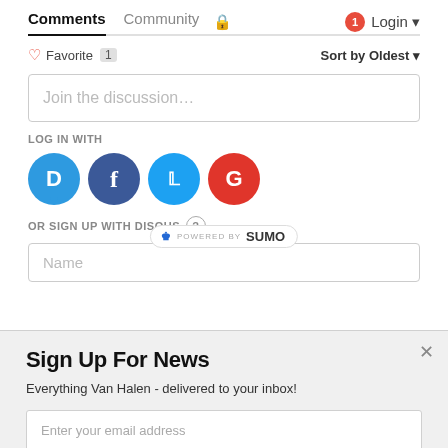Comments  Community  🔒  1  Login
♡ Favorite  1   Sort by Oldest
Join the discussion...
LOG IN WITH
[Figure (logo): Social login icons: Disqus (D), Facebook (f), Twitter bird, Google (G)]
OR SIGN UP WITH DISQUS ?
POWERED BY SUMO
Name
Sign Up For News
Everything Van Halen - delivered to your inbox!
Enter your email address
SIGN ME UP!